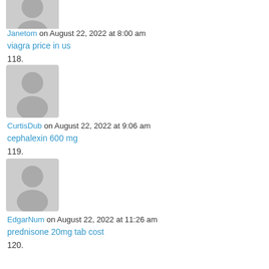[Figure (illustration): Gray placeholder avatar icon (partial, top cut off)]
Janetom on August 22, 2022 at 8:00 am
viagra price in us
118.
[Figure (illustration): Gray placeholder avatar icon]
CurtisDub on August 22, 2022 at 9:06 am
cephalexin 600 mg
119.
[Figure (illustration): Gray placeholder avatar icon]
EdgarNum on August 22, 2022 at 11:26 am
prednisone 20mg tab cost
120.